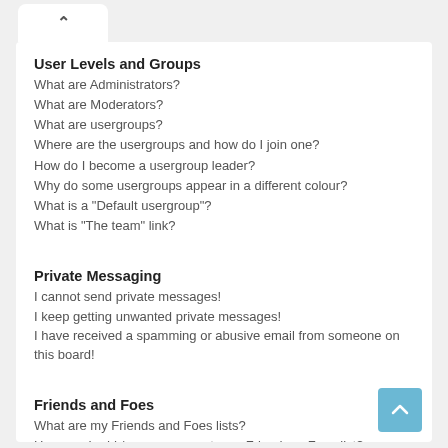User Levels and Groups
What are Administrators?
What are Moderators?
What are usergroups?
Where are the usergroups and how do I join one?
How do I become a usergroup leader?
Why do some usergroups appear in a different colour?
What is a "Default usergroup"?
What is "The team" link?
Private Messaging
I cannot send private messages!
I keep getting unwanted private messages!
I have received a spamming or abusive email from someone on this board!
Friends and Foes
What are my Friends and Foes lists?
How can I add / remove users to my Friends or Foes list?